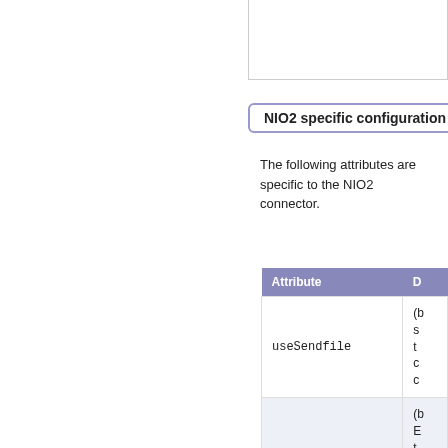NIO2 specific configuration
The following attributes are specific to the NIO2 connector.
| Attribute | D |
| --- | --- |
| useSendfile | (b s t c c |
|  | (b E t j i |